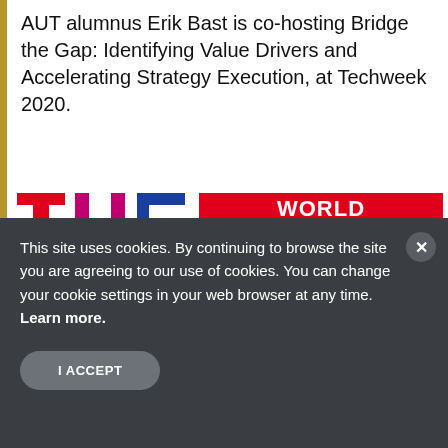AUT alumnus Erik Bast is co-hosting Bridge the Gap: Identifying Value Drivers and Accelerating Strategy Execution, at Techweek 2020.
[Figure (logo): THE World University Rankings 2020 TOP 40 logo with large red/purple/blue THE letters and red/purple/blue banner strips for WORLD UNIVERSITY RANKINGS text]
This site uses cookies. By continuing to browse the site you are agreeing to our use of cookies. You can change your cookie settings in your web browser at any time. Learn more.